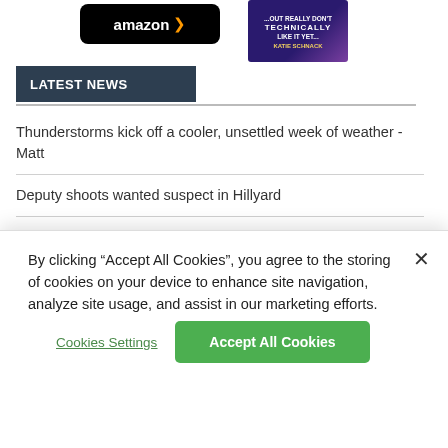[Figure (screenshot): Amazon buy button (black rounded rectangle with amazon logo and arrow) and a book cover (dark purple/blue gradient with white and yellow text reading 'TECHNICALLY' and 'KATIE SCHNACK')]
LATEST NEWS
Thunderstorms kick off a cooler, unsettled week of weather - Matt
Deputy shoots wanted suspect in Hillyard
One man dies from motorcycle crash near South Madison Road
Air 4 Adventure: Let's cruise down the Spokane River
By clicking “Accept All Cookies”, you agree to the storing of cookies on your device to enhance site navigation, analyze site usage, and assist in our marketing efforts.
Cookies Settings
Accept All Cookies